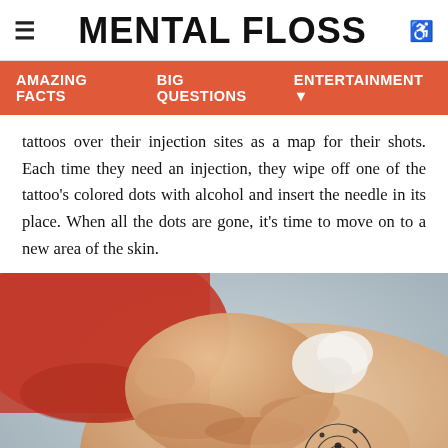MENTAL FLOSS
AMAZING FACTS   BIG QUESTIONS   ENTERTAINMENT
tattoos over their injection sites as a map for their shots. Each time they need an injection, they wipe off one of the tattoo's colored dots with alcohol and insert the needle in its place. When all the dots are gone, it's time to move on to a new area of the skin.
[Figure (photo): A person wearing a red sleeve lifting their shirt to reveal a circular tattoo on their abdomen resembling a solar system target, with a hand holding what appears to be a tissue or cotton ball. The person is wearing dark pants. The tattoo shows concentric circles with black and red dots.]